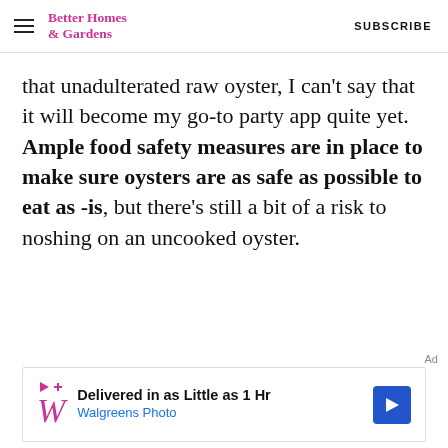Better Homes & Gardens  SUBSCRIBE
that unadulterated raw oyster, I can't say that it will become my go-to party app quite yet. Ample food safety measures are in place to make sure oysters are as safe as possible to eat as -is, but there's still a bit of a risk to noshing on an uncooked oyster.
[Figure (other): Walgreens Photo advertisement banner: 'Delivered in as Little as 1 Hr / Walgreens Photo' with Walgreens W logo and blue arrow icon]
Ad